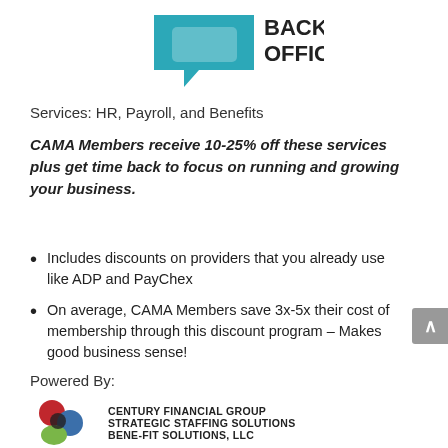[Figure (logo): Back Office logo with teal speech bubble icon and 'BACK OFFICE' text in black bold]
Services: HR, Payroll, and Benefits
CAMA Members receive 10-25% off these services plus get time back to focus on running and growing your business.
Includes discounts on providers that you already use like ADP and PayChex
On average, CAMA Members save 3x-5x their cost of membership through this discount program – Makes good business sense!
Powered By:
[Figure (logo): Century Financial Group / Strategic Staffing Solutions / Bene-Fit Solutions, LLC logo with colorful circular emblem]